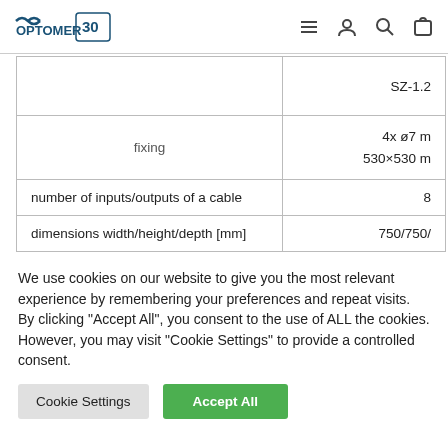OPTOMER 30 [navigation icons: menu, user, search, cart]
|  |  |
| --- | --- |
|  | SZ-1.2 |
| fixing | 4x ø7 m
530×530 m |
| number of inputs/outputs of a cable | 8 |
| dimensions width/height/depth [mm] | 750/750/ |
We use cookies on our website to give you the most relevant experience by remembering your preferences and repeat visits. By clicking "Accept All", you consent to the use of ALL the cookies. However, you may visit "Cookie Settings" to provide a controlled consent.
Cookie Settings
Accept All